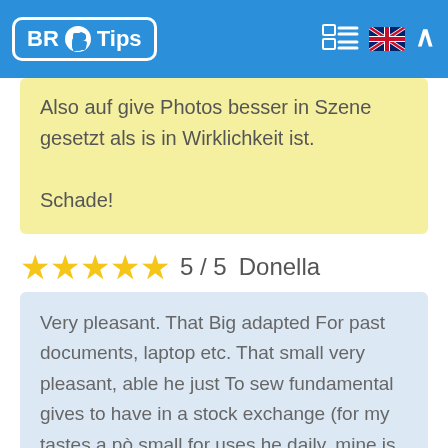BR Tips
Also auf give Photos besser in Szene gesetzt als is in Wirklichkeit ist. Schade!
★★★★★ 5 / 5 Donella
Very pleasant. That Big adapted For past documents, laptop etc. That small very pleasant, able he just To sew fundamental gives to have in a stock exchange (for my tastes a pò small for uses he daily, mine is subjective). He small portamonete, that can also appendere was stock exchange, is the optimum final component ; l use